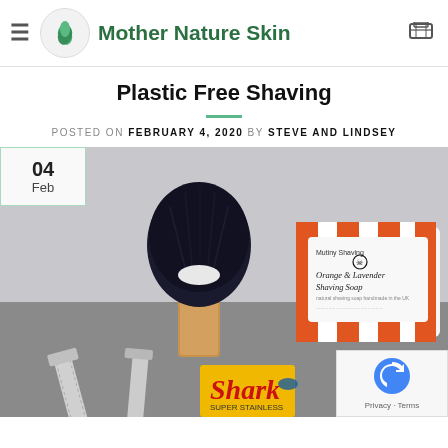Mother Nature Skin
Plastic Free Shaving
POSTED ON FEBRUARY 4, 2020 BY STEVE AND LINDSEY
[Figure (photo): Shaving items on a grey surface: a shaving brush with dark bristles and wooden handle, an orange-and-white striped packaged 'Orange & Lavender Shaving Soap' by Mutiny Shaving, a safety razor, a yellow Shark razor blade box. A date badge shows '04 Feb' in top left.]